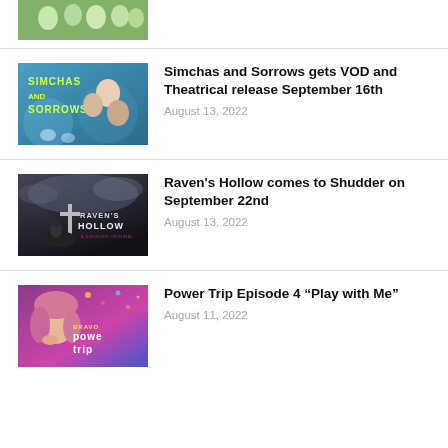[Figure (photo): Partial thumbnail of a group of people outdoors, cropped at top]
[Figure (photo): Movie poster for Simchas and Sorrows showing cast members on blue background with title text]
Simchas and Sorrows gets VOD and Theatrical release September 16th
August 13, 2022
[Figure (photo): Movie poster for Raven's Hollow showing dark horror imagery with title text]
Raven's Hollow comes to Shudder on September 22nd
August 13, 2022
[Figure (photo): Show poster for Power Trip featuring a woman with pink/purple tones and title text]
Power Trip Episode 4 “Play with Me”
August 11, 2022